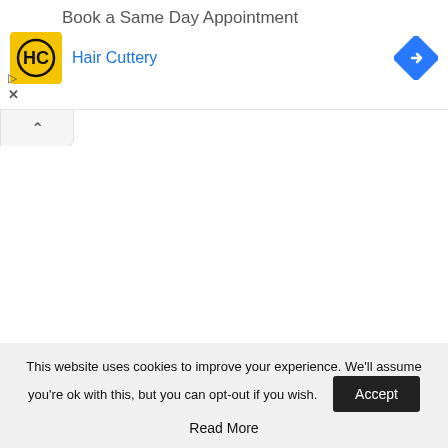[Figure (screenshot): Advertisement banner for Hair Cuttery with yellow HC logo, 'Book a Same Day Appointment' text, blue 'Hair Cuttery' brand name, and a blue navigation diamond icon on the right]
[Figure (screenshot): Collapse/chevron tab below the ad banner]
This website uses cookies to improve your experience. We'll assume you're ok with this, but you can opt-out if you wish.
Accept
Read More